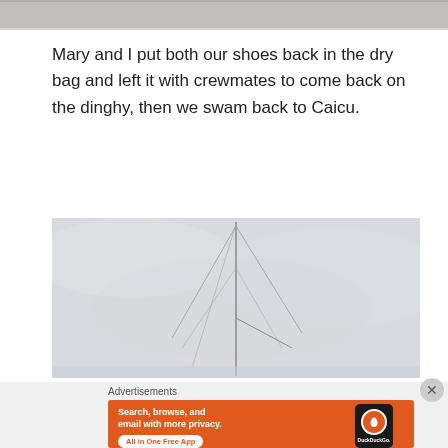[Figure (photo): Partial top of a photograph, cropped, showing a grey/sandy texture at the top of the page]
Mary and I put both our shoes back in the dry bag and left it with crewmates to come back on the dinghy, then we swam back to Caicu.
[Figure (photo): Photograph of a sailboat mast against a grey overcast sky, with rigging lines visible]
Advertisements
[Figure (screenshot): DuckDuckGo advertisement banner with orange background. Text reads: Search, browse, and email with more privacy. All in One Free App. Shows a phone with DuckDuckGo logo.]